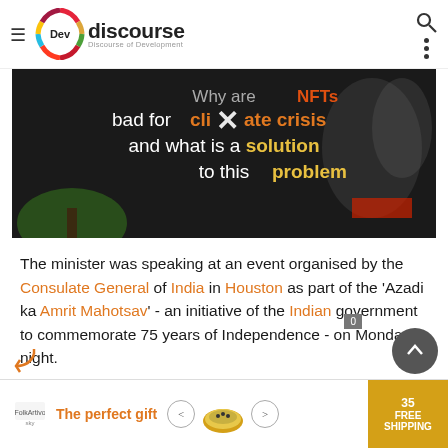[Figure (screenshot): Devdiscourse website header with logo, hamburger menu, search icon and dots menu]
[Figure (photo): Dark background image with text: 'Why are NFTs bad for climate crisis and what is a solution to this problem' with bold yellow and white text, X overlay icon]
The minister was speaking at an event organised by the Consulate General of India in Houston as part of the 'Azadi ka Amrit Mahotsav' - an initiative of the Indian government to commemorate 75 years of Independence - on Monday night.
[Figure (screenshot): Advertisement banner: 'The perfect gift' with bowl of food image, navigation arrows, and FREE SHIPPING label in gold/yellow]